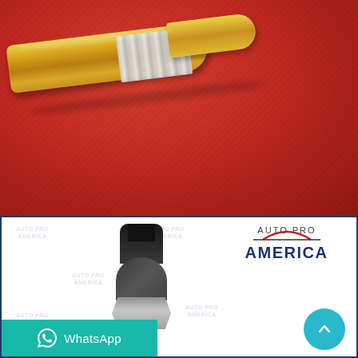[Figure (photo): A brass/gold metallic automotive sensor or fitting lying diagonally on a red felt surface. The part has a cylindrical brass body with a white threaded collar section.]
[Figure (photo): Product listing image showing an automotive pressure sensor with black plastic connector on top and hexagonal metal body, displayed on white background with Auto Pro America watermark logo. Includes WhatsApp contact button and scroll-up button overlay.]